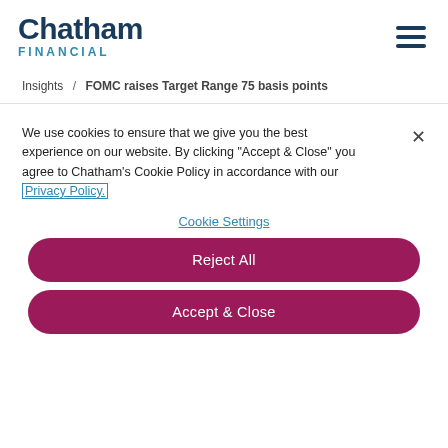Chatham FINANCIAL
Insights / FOMC raises Target Range 75 basis points
We use cookies to ensure that we give you the best experience on our website. By clicking "Accept & Close" you agree to Chatham's Cookie Policy in accordance with our Privacy Policy.
Cookie Settings
Reject All
Accept & Close